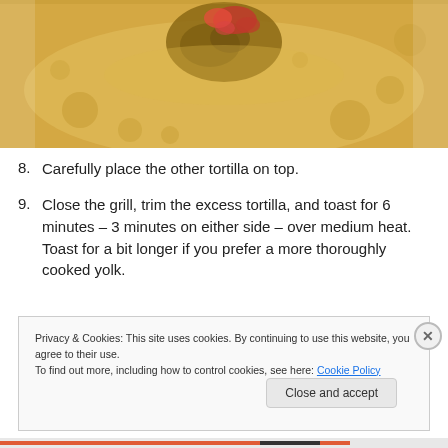[Figure (photo): A tortilla on a white plate with meat and tomato filling in the center, seen from above, with a golden/yellow tint to the tortilla.]
8. Carefully place the other tortilla on top.
9. Close the grill, trim the excess tortilla, and toast for 6 minutes – 3 minutes on either side – over medium heat.  Toast for a bit longer if you prefer a more thoroughly cooked yolk.
Privacy & Cookies: This site uses cookies. By continuing to use this website, you agree to their use.
To find out more, including how to control cookies, see here: Cookie Policy